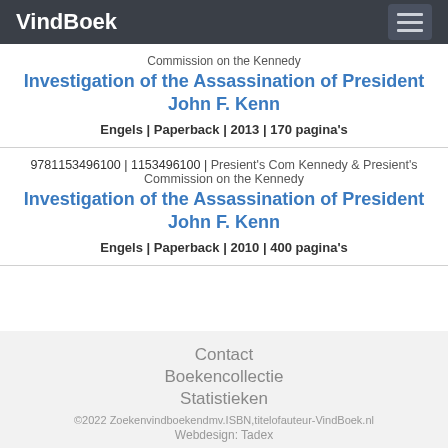VindBoek
Commission on the Kennedy
Investigation of the Assassination of President John F. Kenn
Engels | Paperback | 2013 | 170 pagina's
9781153496100 | 1153496100 | Presient's Com Kennedy & Presient's Commission on the Kennedy
Investigation of the Assassination of President John F. Kenn
Engels | Paperback | 2010 | 400 pagina's
Contact
Boekencollectie
Statistieken
©2022 Zoekenvindboekendmv.ISBN,titelofauteur-VindBoek.nl
Webdesign: Tadex